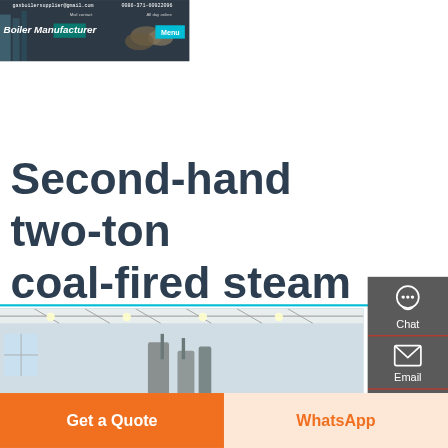gasboilersupplier@gmail.com   0086-371-60922096   Mail contact   All day online
Second-hand two-ton coal-fired steam generator for sale
[Figure (photo): Interior of a boiler manufacturing factory with steel components and equipment visible]
Chat
Email
Contact
Get a Quote
WhatsApp